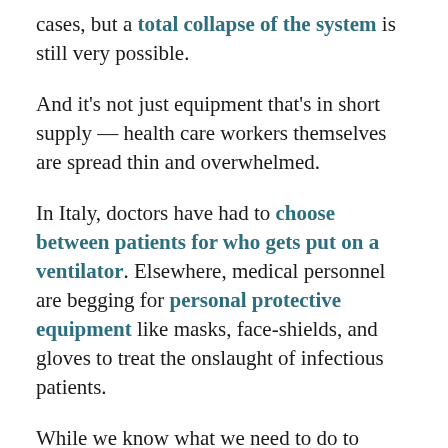cases, but a total collapse of the system is still very possible.
And it's not just equipment that's in short supply — health care workers themselves are spread thin and overwhelmed.
In Italy, doctors have had to choose between patients for who gets put on a ventilator. Elsewhere, medical personnel are begging for personal protective equipment like masks, face-shields, and gloves to treat the onslaught of infectious patients.
While we know what we need to do to support doctors, nurses, and other health care workers to adequately deal with the pandemic, the everyday reality of caring for so many patients at once is